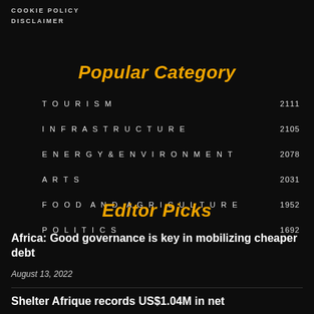COOKIE POLICY
DISCLAIMER
Popular Category
| Category | Count |
| --- | --- |
| TOURISM | 2111 |
| INFRASTRUCTURE | 2105 |
| ENERGY & ENVIRONMENT | 2078 |
| ARTS | 2031 |
| FOOD AND AGRICULTURE | 1952 |
| POLITICS | 1692 |
Editor Picks
Africa: Good governance is key in mobilizing cheaper debt
August 13, 2022
Shelter Afrique records US$1.04M in net